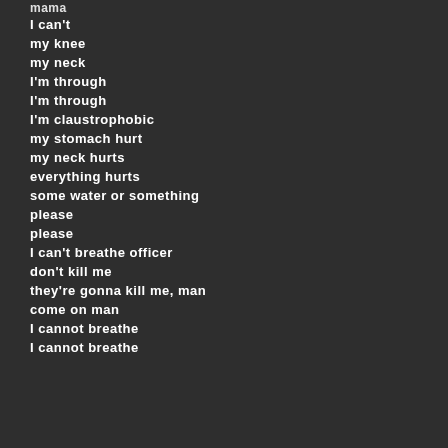mama
I can't
my knee
my neck
I'm through
I'm through
I'm claustrophobic
my stomach hurt
my neck hurts
everything hurts
some water or something
please
please
I can't breathe officer
don't kill me
they're gonna kill me, man
come on man
I cannot breathe
I cannot breathe